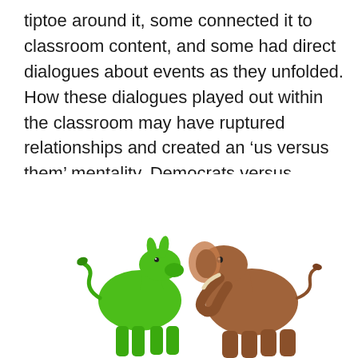tiptoe around it, some connected it to classroom content, and some had direct dialogues about events as they unfolded. How these dialogues played out within the classroom may have ruptured relationships and created an ‘us versus them’ mentality. Democrats versus Republicans. Liberals versus Conservatives. Bridges versus walls.  Further still, some dialogues may have unified a classroom because of shared beliefs. However, eve
[Figure (photo): A green plastic donkey figurine (Democratic Party symbol) and a brown plastic elephant figurine (Republican Party symbol) facing each other, appearing to touch noses, against a white background.]